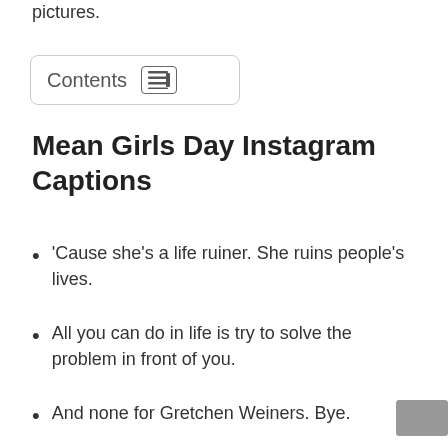pictures.
[Figure (other): Contents box with list icon button]
Mean Girls Day Instagram Captions
‘Cause she’s a life ruiner. She ruins people’s lives.
All you can do in life is try to solve the problem in front of you.
And none for Gretchen Weiners. Bye.